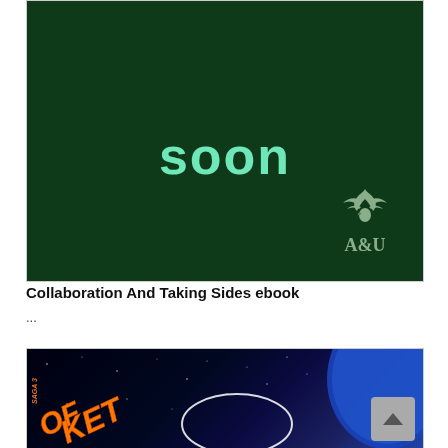[Figure (illustration): Dark green book cover placeholder with 'soon' text in mint/teal color and A&U publisher logo in bottom right corner]
Collaboration And Taking Sides ebook
...
[Figure (illustration): Space-themed book cover with dark starry background, orange rocket/title text, blue planet, labeled 'SAGA 3']